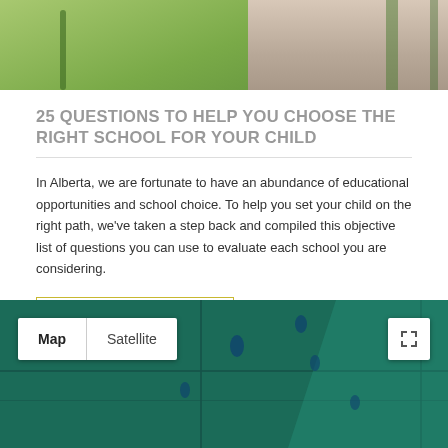[Figure (photo): Photo of a child (girl with dark hair) on a playground with green foliage in background]
25 QUESTIONS TO HELP YOU CHOOSE THE RIGHT SCHOOL FOR YOUR CHILD
In Alberta, we are fortunate to have an abundance of educational opportunities and school choice. To help you set your child on the right path, we've taken a step back and compiled this objective list of questions you can use to evaluate each school you are considering.
READ MORE
[Figure (map): Google Maps-style map showing a teal/dark green geographic area with roads and water bodies. Map/Satellite toggle visible at top left, fullscreen button at top right.]